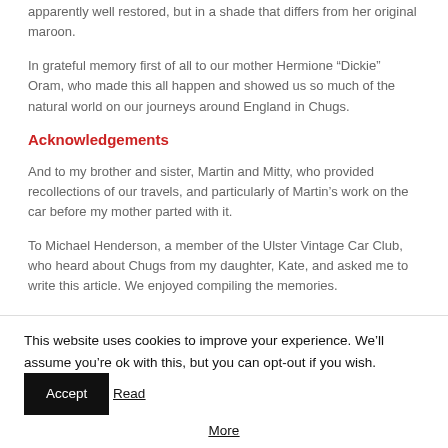apparently well restored, but in a shade that differs from her original maroon.
In grateful memory first of all to our mother Hermione “Dickie” Oram, who made this all happen and showed us so much of the natural world on our journeys around England in Chugs.
Acknowledgements
And to my brother and sister, Martin and Mitty, who provided recollections of our travels, and particularly of Martin’s work on the car before my mother parted with it.
To Michael Henderson, a member of the Ulster Vintage Car Club, who heard about Chugs from my daughter, Kate, and asked me to write this article. We enjoyed compiling the memories.
This website uses cookies to improve your experience. We’ll assume you’re ok with this, but you can opt-out if you wish. Accept Read More